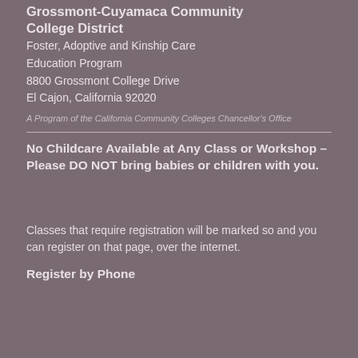Grossmont-Cuyamaca Community College District
Foster, Adoptive and Kinship Care Education Program
8800 Grossmont College Drive
El Cajon, California 92020
A Program of the California Community Colleges Chancellor's Office
No Childcare Available at Any Class or Workshop – Please DO NOT bring babies or children with you.
Classes that require registration will be marked so and you can register on that page, over the internet.
Register by Phone